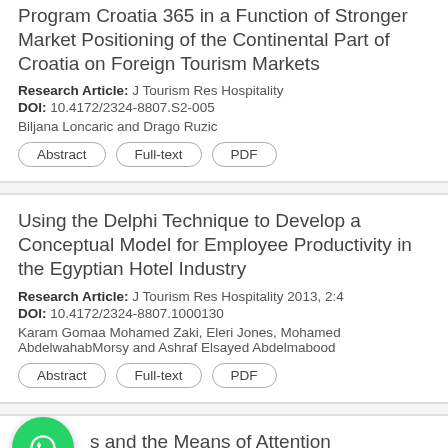Program Croatia 365 in a Function of Stronger Market Positioning of the Continental Part of Croatia on Foreign Tourism Markets
Research Article: J Tourism Res Hospitality
DOI: 10.4172/2324-8807.S2-005
Biljana Loncaric and Drago Ruzic
Using the Delphi Technique to Develop a Conceptual Model for Employee Productivity in the Egyptian Hotel Industry
Research Article: J Tourism Res Hospitality 2013, 2:4
DOI: 10.4172/2324-8807.1000130
Karam Gomaa Mohamed Zaki, Eleri Jones, Mohamed AbdelwahabMorsy and Ashraf Elsayed Abdelmabood
...s and the Means of Attention
Research Article: J Tourism Res Hospitality 2013, 2:...
DOI: 10.4172/2324-8807.100011...